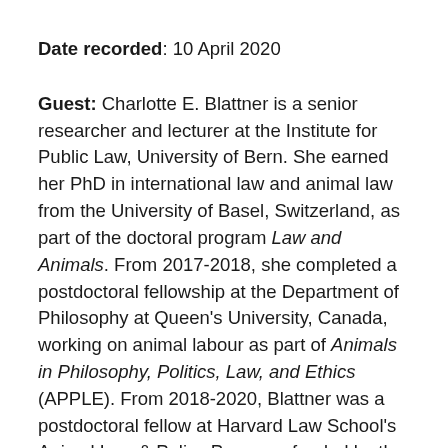Date recorded: 10 April 2020
Guest: Charlotte E. Blattner is a senior researcher and lecturer at the Institute for Public Law, University of Bern. She earned her PhD in international law and animal law from the University of Basel, Switzerland, as part of the doctoral program Law and Animals. From 2017-2018, she completed a postdoctoral fellowship at the Department of Philosophy at Queen's University, Canada, working on animal labour as part of Animals in Philosophy, Politics, Law, and Ethics (APPLE). From 2018-2020, Blattner was a postdoctoral fellow at Harvard Law School's Animal Law & Policy Program, funded by the